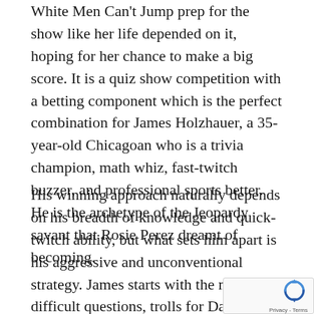White Men Can't Jump prep for the show like her life depended on it, hoping for her chance to make a big score. It is a quiz show competition with a betting component which is the perfect combination for James Holzhauer, a 35-year-old Chicagoan who is a trivia champion, math whiz, fast-twitch buzzer, and professional sports better. He is the archetype of the Jeopardy savant that Rosie Perez dreamt of becoming.
His winning approach naturally depends on his breadth of knowledge and quick-twitch ability, but what sets him apart is his aggressive and unconventional strategy. James starts with the most difficult questions, trolls for Daily Doubles, and bets boldly, often risking his earnings in an effort to quickly put away his opponents. He knows he is on a streak do most of his opponents, which gives him a big